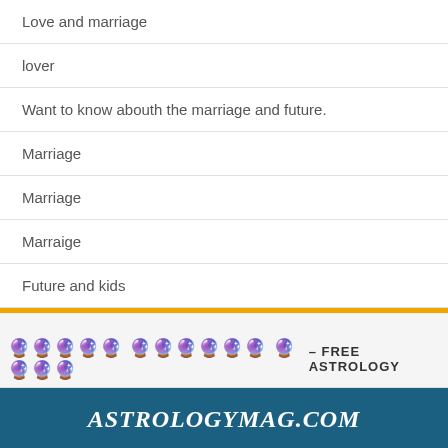Love and marriage
lover
Want to know abouth the marriage and future.
Marriage
Marriage
Marraige
Future and kids
[Figure (screenshot): Advertisement banner for astrologymag.com with free astrology icons header and 'Free consultation' text on dark teal background]